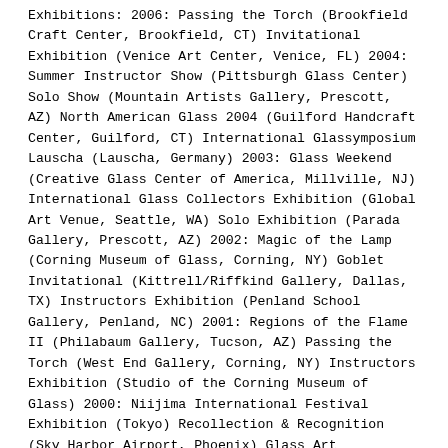Exhibitions: 2006: Passing the Torch (Brookfield Craft Center, Brookfield, CT) Invitational Exhibition (Venice Art Center, Venice, FL) 2004: Summer Instructor Show (Pittsburgh Glass Center) Solo Show (Mountain Artists Gallery, Prescott, AZ) North American Glass 2004 (Guilford Handcraft Center, Guilford, CT) International Glassymposium Lauscha (Lauscha, Germany) 2003: Glass Weekend (Creative Glass Center of America, Millville, NJ) International Glass Collectors Exhibition (Global Art Venue, Seattle, WA) Solo Exhibition (Parada Gallery, Prescott, AZ) 2002: Magic of the Lamp (Corning Museum of Glass, Corning, NY) Goblet Invitational (Kittrell/Riffkind Gallery, Dallas, TX) Instructors Exhibition (Penland School Gallery, Penland, NC) 2001: Regions of the Flame II (Philabaum Gallery, Tucson, AZ) Passing the Torch (West End Gallery, Corning, NY) Instructors Exhibition (Studio of the Corning Museum of Glass) 2000: Niijima International Festival Exhibition (Tokyo) Recollection & Recognition (Sky Harbor Airport, Phoenix) Glass Art Association of Canada (Red Deer College) When It Melts, It Pours (Shemer Art Center, Phoenix) 1999: Solo Exhibition (Scherer Gallery, Sedona, AZ) Tip of the Iceberg (Florida Craftsmen Gallery, Tampa) Sculptural Glass (Creative Arts Workshop, New Haven, CT) Featured Artist (Kittrell/Riffkind Gallery, Dallas) Flame Shapes (Solo Exhibition)